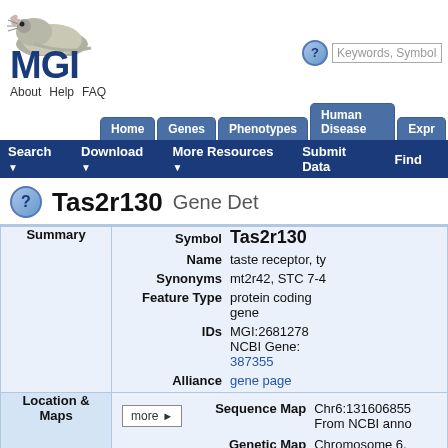MGI - Mouse Genome Informatics
Tas2r130  Gene Det
| Section | Field | Value |
| --- | --- | --- |
| Summary | Symbol | Tas2r130 |
| Summary | Name | taste receptor, ty |
| Summary | Synonyms | mt2r42, STC 7-4 |
| Summary | Feature Type | protein coding gene |
| Summary | IDs | MGI:2681278 NCBI Gene: 387355 |
| Summary | Alliance | gene page |
| Location & Maps | Sequence Map | Chr6:131606855 From NCBI anno |
| Location & Maps | Genetic Map | Chromosome 6, 63.44 cM |